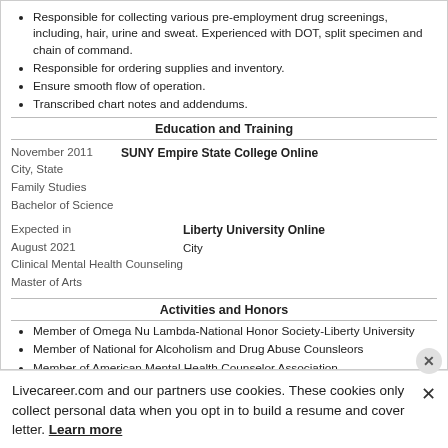Responsible for collecting various pre-employment drug screenings, including, hair, urine and sweat. Experienced with DOT, split specimen and chain of command.
Responsible for ordering supplies and inventory.
Ensure smooth flow of operation.
Transcribed chart notes and addendums.
Education and Training
November 2011
City, State
Family Studies
Bachelor of Science

SUNY Empire State College Online
Expected in
August 2021
Clinical Mental Health Counseling
Master of Arts

Liberty University Online
City
Activities and Honors
Member of Omega Nu Lambda-National Honor Society-Liberty University
Member of National for Alcoholism and Drug Abuse Counsleors
Member of American Mental Health Counselor Association
Member of Pennsylvania Counseling Association
Certifications
Livecareer.com and our partners use cookies. These cookies only collect personal data when you opt in to build a resume and cover letter. Learn more